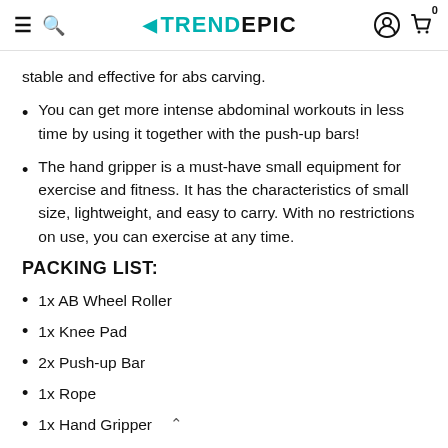TRENDEPIC — navigation header with hamburger, search, logo, user, and cart icons
stable and effective for abs carving.
You can get more intense abdominal workouts in less time by using it together with the push-up bars!
The hand gripper is a must-have small equipment for exercise and fitness. It has the characteristics of small size, lightweight, and easy to carry. With no restrictions on use, you can exercise at any time.
PACKING LIST:
1x AB Wheel Roller
1x Knee Pad
2x Push-up Bar
1x Rope
1x Hand Gripper